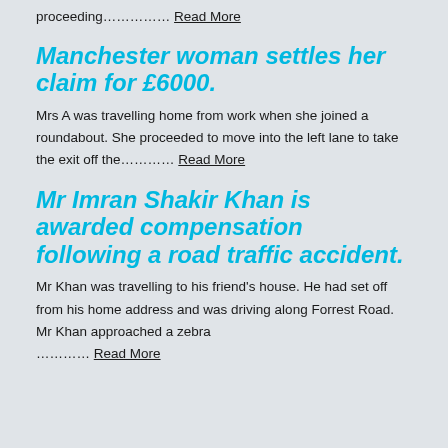proceeding…………… Read More
Manchester woman settles her claim for £6000.
Mrs A was travelling home from work when she joined a roundabout. She proceeded to move into the left lane to take the exit off the………… Read More
Mr Imran Shakir Khan is awarded compensation following a road traffic accident.
Mr Khan was travelling to his friend's house. He had set off from his home address and was driving along Forrest Road. Mr Khan approached a zebra ………… Read More